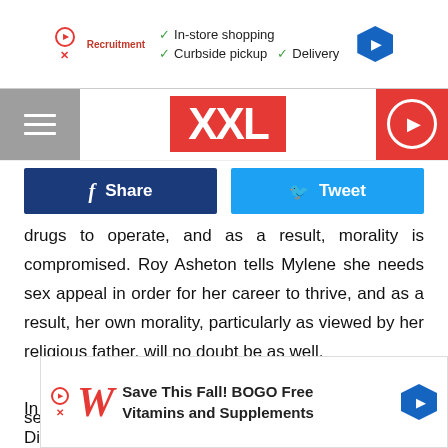[Figure (screenshot): Top advertisement banner with checkmarks for In-store shopping, Curbside pickup, Delivery and blue navigation arrow]
[Figure (logo): XXL magazine logo in red with hamburger menu and play button navigation]
[Figure (screenshot): Facebook Share button (dark blue) and Twitter Tweet button (light blue)]
drugs to operate, and as a result, morality is compromised. Roy Asheton tells Mylene she needs sex appeal in order for her career to thrive, and as a result, her own morality, particularly as viewed by her religious father, will no doubt be as well.

In an animated scene, a recurring bit this season, Dizzee and Thor run into a train tunnel and are chased by police, only one emerging out the other side, at least at first. Who escape seems
[Figure (screenshot): Walgreens advertisement: Save This Fall! BOGO Free Vitamins and Supplements]